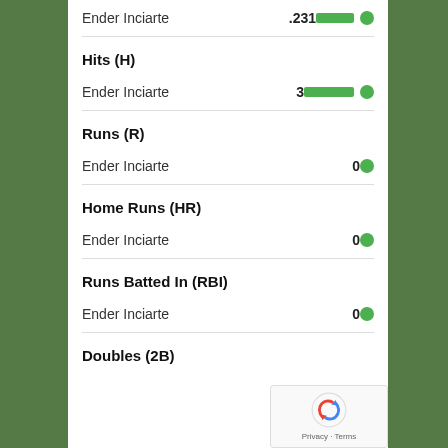Ender Inciarte .231
Hits (H)
Ender Inciarte 3
Runs (R)
Ender Inciarte 0
Home Runs (HR)
Ender Inciarte 0
Runs Batted In (RBI)
Ender Inciarte 0
Doubles (2B)